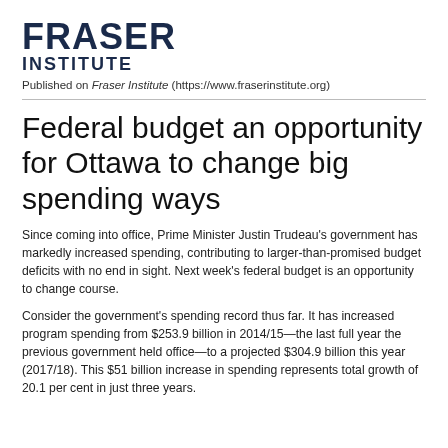[Figure (logo): Fraser Institute logo with FRASER in large bold text and INSTITUTE below in smaller spaced text]
Published on Fraser Institute (https://www.fraserinstitute.org)
Federal budget an opportunity for Ottawa to change big spending ways
Since coming into office, Prime Minister Justin Trudeau's government has markedly increased spending, contributing to larger-than-promised budget deficits with no end in sight. Next week's federal budget is an opportunity to change course.
Consider the government's spending record thus far. It has increased program spending from $253.9 billion in 2014/15—the last full year the previous government held office—to a projected $304.9 billion this year (2017/18). This $51 billion increase in spending represents total growth of 20.1 per cent in just three years.